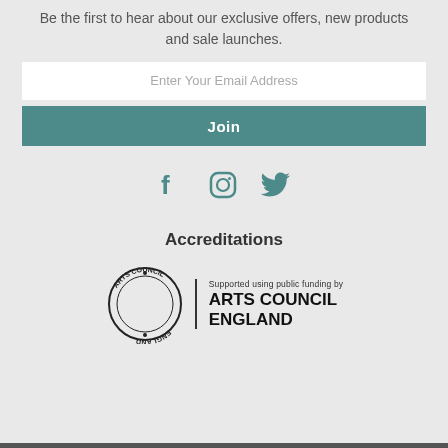Be the first to hear about our exclusive offers, new products and sale launches.
Enter Your Email Address
Join
[Figure (other): Social media icons: Facebook, Instagram, Twitter in teal color]
Accreditations
[Figure (logo): Arts Council England logo: circular stamp with ARTS COUNCIL ENGLAND text and 'Supported using public funding by' tagline]